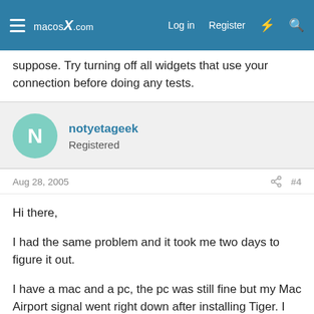macosX.com  Log in  Register
suppose. Try turning off all widgets that use your connection before doing any tests.
notyetageek
Registered
Aug 28, 2005  #4
Hi there,

I had the same problem and it took me two days to figure it out.

I have a mac and a pc, the pc was still fine but my Mac Airport signal went right down after installing Tiger. I could browse the web but it was painfully slow.

The remedy was to change the wireless channel on the router from 11 to 5. It could be any of the other channels but my PC didn't like the others.